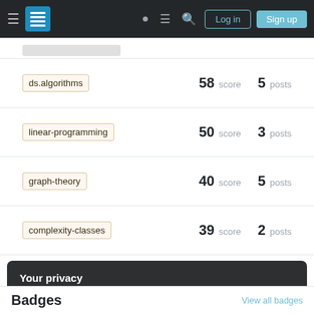Stack Exchange navigation bar with Log in and Sign up buttons
ds.algorithms — 58 score 5 posts
linear-programming — 50 score 3 posts
graph-theory — 40 score 5 posts
complexity-classes — 39 score 2 posts
Your privacy
By clicking "Accept all cookies", you agree Stack Exchange can store cookies on your device and disclose information in accordance with our Cookie Policy.
Accept all cookies  Customize settings
Badges